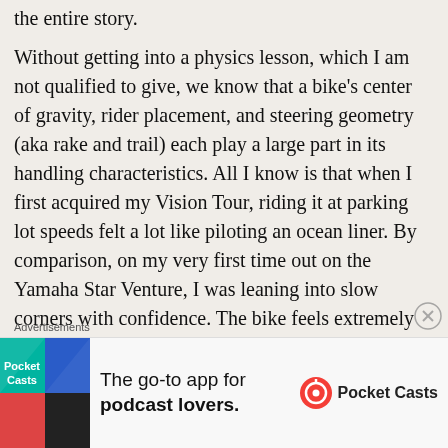the entire story.
Without getting into a physics lesson, which I am not qualified to give, we know that a bike's center of gravity, rider placement, and steering geometry (aka rake and trail) each play a large part in its handling characteristics. All I know is that when I first acquired my Vision Tour, riding it at parking lot speeds felt a lot like piloting an ocean liner. By comparison, on my very first time out on the Yamaha Star Venture, I was leaning into slow corners with confidence. The bike feels extremely well-balanced at any speed and to the extent that a bike weighing almost half a ton can feel agile, this machine felt agile and very responsive to my rider
Advertisements
[Figure (other): Advertisement banner: Pocket Casts app promotion. Left side shows colorful app icon tiles (teal, blue, red triangles). Text reads 'The go-to app for podcast lovers.' with Pocket Casts logo on the right.]